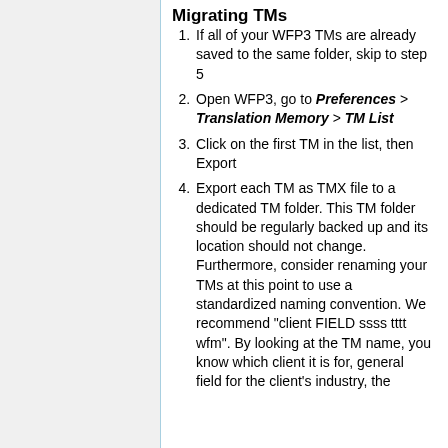Migrating TMs
If all of your WFP3 TMs are already saved to the same folder, skip to step 5
Open WFP3, go to Preferences > Translation Memory > TM List
Click on the first TM in the list, then Export
Export each TM as TMX file to a dedicated TM folder. This TM folder should be regularly backed up and its location should not change. Furthermore, consider renaming your TMs at this point to use a standardized naming convention. We recommend "client FIELD ssss tttt wfm". By looking at the TM name, you know which client it is for, general field for the client's industry, the